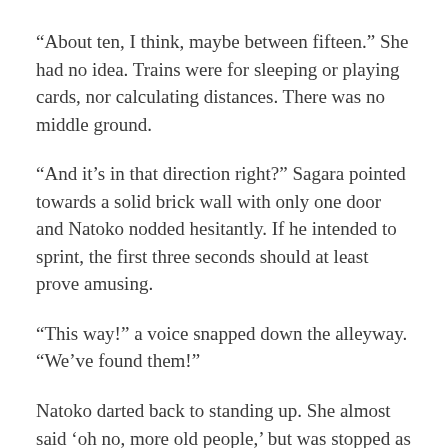“About ten, I think, maybe between fifteen.” She had no idea. Trains were for sleeping or playing cards, nor calculating distances. There was no middle ground.
“And it’s in that direction right?” Sagara pointed towards a solid brick wall with only one door and Natoko nodded hesitantly. If he intended to sprint, the first three seconds should at least prove amusing.
“This way!” a voice snapped down the alleyway. “We’ve found them!”
Natoko darted back to standing up. She almost said ‘oh no, more old people,’ but was stopped as Sagara started banging around behind her. She only got time to notice around eight or so mobster old people were slowly crowding around them, screaming and shouting as loud as they could, before it became clear that Sagara was kicking the back door of someone’s apartment in. She